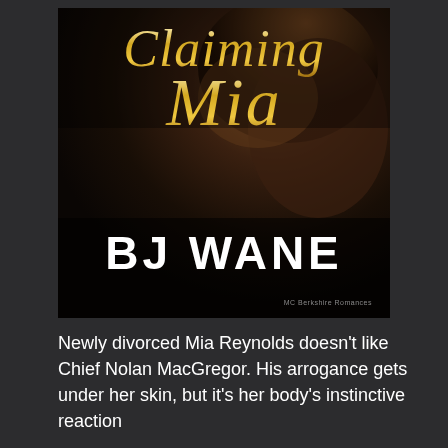[Figure (illustration): Book cover for 'Claiming Mia' by BJ Wane. Dark background with a close-up of a dark-skinned man's torso and arm. Title 'Claiming Mia' in gold cursive/script font at the top. Author name 'BJ WANE' in large white bold sans-serif at the bottom. Publisher logo in small text at the bottom right.]
Newly divorced Mia Reynolds doesn't like Chief Nolan MacGregor. His arrogance gets under her skin, but it's her body's instinctive reaction...